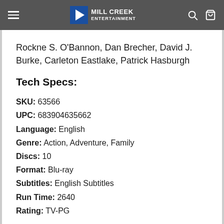Mill Creek Entertainment
Rockne S. O'Bannon, Dan Brecher, David J. Burke, Carleton Eastlake, Patrick Hasburgh
Tech Specs:
SKU: 63566
UPC: 683904635662
Language: English
Genre: Action, Adventure, Family
Discs: 10
Format: Blu-ray
Subtitles: English Subtitles
Run Time: 2640
Rating: TV-PG